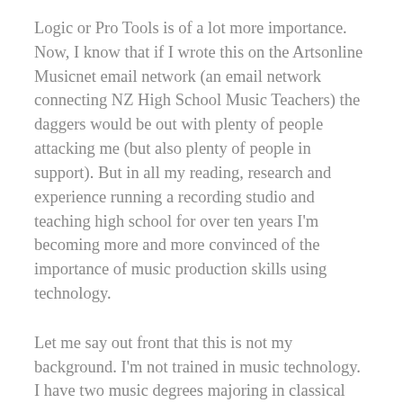Logic or Pro Tools is of a lot more importance.  Now, I know that if I wrote this on the Artsonline Musicnet email network (an email network connecting NZ High School Music Teachers) the daggers would be out with plenty of people attacking me (but also plenty of people in support).  But in all my reading, research and experience running a recording studio and teaching high school for over ten years I'm becoming more and more convinced of the importance of music production skills using technology.
Let me say out front that this is not my background.  I'm not trained in music technology.  I have two music degrees majoring in classical and jazz music.  But the longer I'm involved with the music industry the more I see the need to train our high schools students for the realities of our music world.  The simple fact of the matter